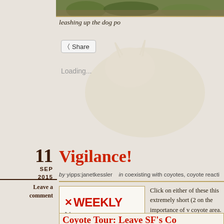[Figure (photo): Top strip showing vegetation/outdoor scene, cropped]
leashing up the dog po
Loading...
11
SEP
2015
Vigilance!
by yipps:janetkessler    in coexisting with coyotes, coyote reacti
Leave a comment
[Figure (logo): SF Weekly News logo - red stylized letters with X mark, word WEEKLY in red, News in gray below]
Click on either of these this extremely short (2 on the importance of v coyote area.
Coyote Tour: Leave SF's Co